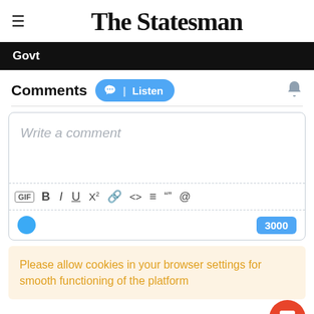The Statesman
Govt
Comments  Listen
[Figure (screenshot): Comment input box with placeholder text 'Write a comment', formatting toolbar (GIF, B, I, U, X2, link, code, list, quote, @), avatar dot, and character count 3000]
Please allow cookies in your browser settings for smooth functioning of the platform
Be the first to comment